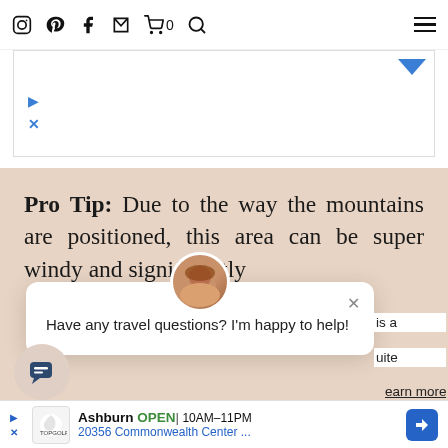Navigation icons: Instagram, Pinterest, Facebook, Email, Cart (0), Search, Hamburger menu
[Figure (screenshot): Ad banner with blue play and close icons, and blue dropdown arrow in top right corner]
Pro Tip: Due to the way the mountains are positioned, this area can be super windy and significantly
Have any travel questions? I'm happy to help!
ver its services
g this site, you
earn more
is a
uite
OK
[Figure (illustration): Chat bubble icon in bottom left corner]
Ashburn OPEN 10AM–11PM 20356 Commonwealth Center ...